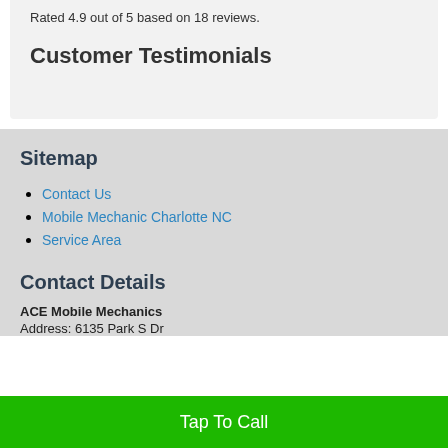Rated 4.9 out of 5 based on 18 reviews.
Customer Testimonials
Sitemap
Contact Us
Mobile Mechanic Charlotte NC
Service Area
Contact Details
ACE Mobile Mechanics
Address: 6135 Park S Dr
Tap To Call